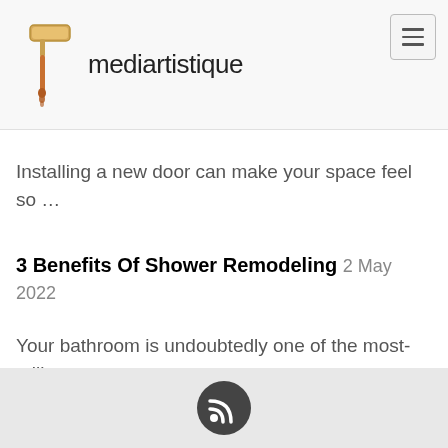mediartistique
Installing a new door can make your space feel so …
3 Benefits Of Shower Remodeling 2 May 2022
Your bathroom is undoubtedly one of the most-utili …
RSS feed icon